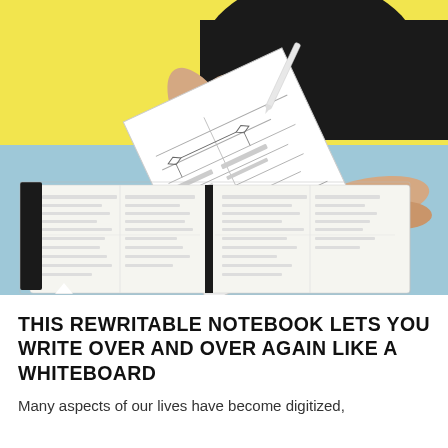[Figure (photo): Person in a black top sitting at a blue desk with a yellow background. They are holding up a white sheet of paper with handwritten diagrams/charts in one hand and a white stylus/pen in the other. On the desk lies an open notebook with handwritten notes.]
THIS REWRITABLE NOTEBOOK LETS YOU WRITE OVER AND OVER AGAIN LIKE A WHITEBOARD
Many aspects of our lives have become digitized,